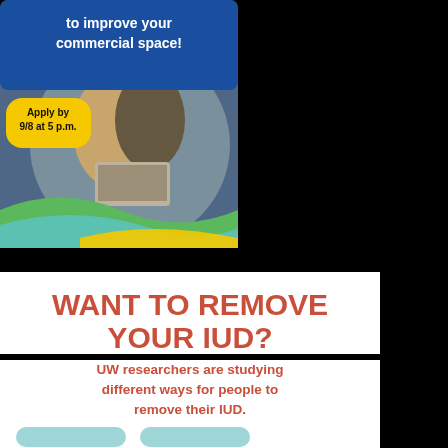[Figure (infographic): Advertisement with blue background showing text 'to improve your commercial space!' with a circular photo of two people (a man and woman) working on a laptop in a restaurant/cafe setting. A yellow speech bubble reads 'Apply by 9/8 at 5 p.m.' The bottom has green, blue, and yellow wave design elements.]
WANT TO REMOVE YOUR IUD?
UW researchers are studying different ways for people to remove their IUD.